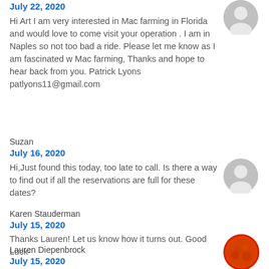July 22, 2020
Hi Art I am very interested in Mac farming in Florida and would love to come visit your operation . I am in Naples so not too bad a ride. Please let me know as I am fascinated w Mac farming, Thanks and hope to hear back from you. Patrick Lyons patlyons11@gmail.com
Suzan
July 16, 2020
Hi,Just found this today, too late to call. Is there a way to find out if all the reservations are full for these dates?
Karen Stauderman
July 15, 2020
Thanks Lauren! Let us know how it turns out. Good Luck-
Lauren Diepenbrock
July 15, 2020